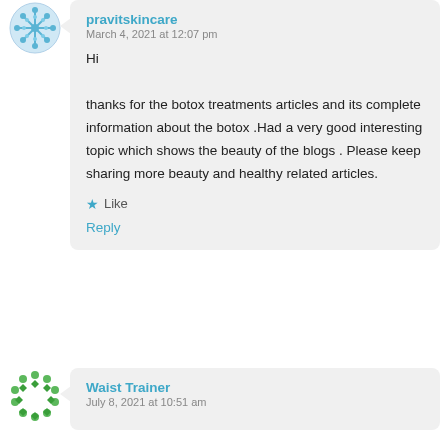[Figure (illustration): Blue snowflake/mandala avatar icon for user pravitskincare]
pravitskincare
March 4, 2021 at 12:07 pm
Hi

thanks for the botox treatments articles and its complete information about the botox .Had a very good interesting topic which shows the beauty of the blogs . Please keep sharing more beauty and healthy related articles.
★ Like
Reply
[Figure (illustration): Green circular dotted/beaded ring avatar icon for user Waist Trainer]
Waist Trainer
July 8, 2021 at 10:51 am